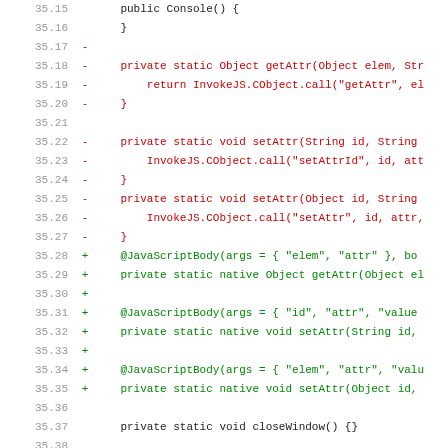Code diff showing Java source changes, lines 35.15–35.46, with removed lines (red, minus), added lines (green, plus), context lines (black), and a diff hunk header (purple).